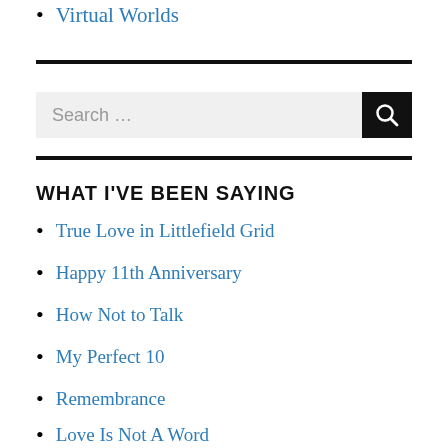Virtual Worlds
[Figure (other): Horizontal black divider line]
[Figure (other): Search box with input field labeled 'Search ...' and a black search button with magnifying glass icon]
[Figure (other): Horizontal black divider line]
WHAT I'VE BEEN SAYING
True Love in Littlefield Grid
Happy 11th Anniversary
How Not to Talk
My Perfect 10
Remembrance
Love Is Not A Word